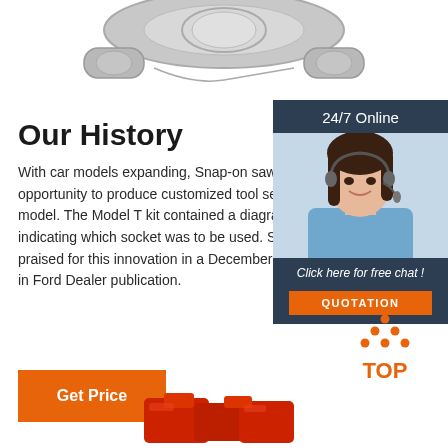[Figure (photo): Gray metallic mechanical component (bearing or hub) partially visible at top of page]
Our History
With car models expanding, Snap-on saw an opportunity to produce customized tool sets for each model. The Model T kit contained a diagram indicating which socket was to be used. Snap-on was praised for this innovation in a December 1924 article in Ford Dealer publication.
[Figure (photo): Customer service representative woman with headset, 24/7 Online chat widget with orange QUOTATION button]
[Figure (infographic): Orange dotted triangle TOP button/icon]
[Figure (photo): Red mechanical components partially visible at bottom of page]